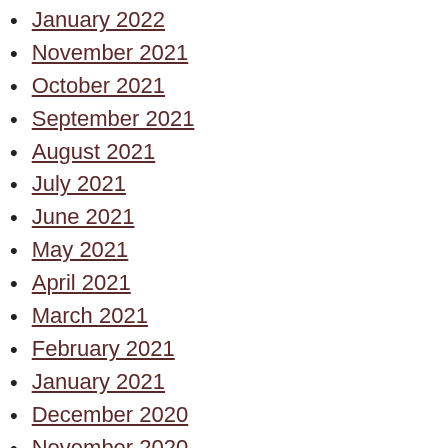January 2022
November 2021
October 2021
September 2021
August 2021
July 2021
June 2021
May 2021
April 2021
March 2021
February 2021
January 2021
December 2020
November 2020
October 2020
August 2020
June 2020
May 2020